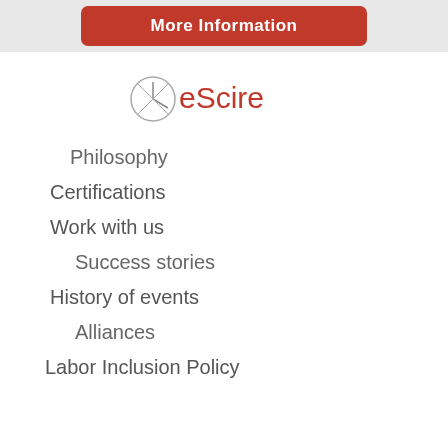[Figure (other): Red button labeled More Information on a light grey banner]
[Figure (logo): ReScire company logo — stylized compass/clock circle icon in grey with ReScire text in red]
Philosophy
Certifications
Work with us
Success stories
History of events
Alliances
Labor Inclusion Policy